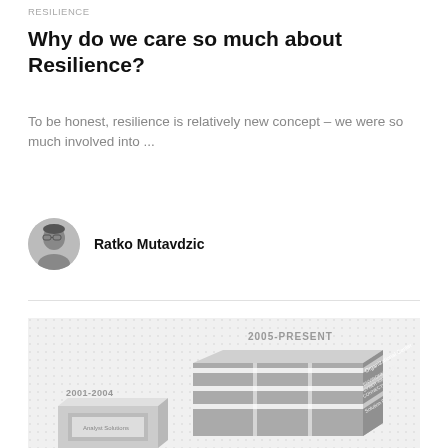RESILIENCE
Why do we care so much about Resilience?
To be honest, resilience is relatively new concept – we were so much involved into ...
Ratko Mutavdzic
[Figure (illustration): Infographic showing a building labeled '2005-PRESENT' with text 'Organizational Center', 'ENVIRONMENTAL CYBER-RELATED CONNECTIVITY' and 'Solution Focus'. A smaller building labeled '2001-2004' is shown to the left bottom with 'Analyst Solutions' text. The image is partially cropped at the bottom.]